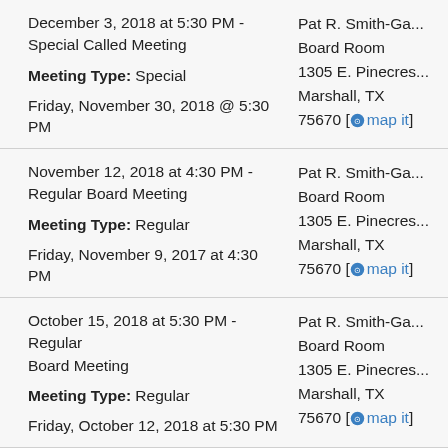December 3, 2018 at 5:30 PM - Special Called Meeting
Meeting Type: Special
Friday, November 30, 2018 @ 5:30 PM
Pat R. Smith-Ga... Board Room 1305 E. Pinecres... Marshall, TX 75670 [map it]
November 12, 2018 at 4:30 PM - Regular Board Meeting
Meeting Type: Regular
Friday, November 9, 2017 at 4:30 PM
Pat R. Smith-Ga... Board Room 1305 E. Pinecres... Marshall, TX 75670 [map it]
October 15, 2018 at 5:30 PM - Regular Board Meeting
Meeting Type: Regular
Friday, October 12, 2018 at 5:30 PM
Pat R. Smith-Ga... Board Room 1305 E. Pinecres... Marshall, TX 75670 [map it]